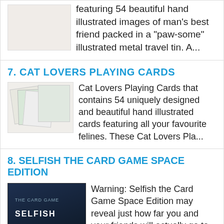featuring 54 beautiful hand illustrated images of man's best friend packed in a "paw-some" illustrated metal travel tin. A...
7. CAT LOVERS PLAYING CARDS
[Figure (photo): Cat Lovers Playing Cards product image showing card tin and spread of illustrated cards]
Cat Lovers Playing Cards that contains 54 uniquely designed and beautiful hand illustrated cards featuring all your favourite felines. These Cat Lovers Pla...
8. SELFISH THE CARD GAME SPACE EDITION
[Figure (photo): Selfish the Card Game Space Edition box with dark space themed packaging and cards spread below it, with SELFISH text visible]
Warning: Selfish the Card Game Space Edition may reveal just how far you and your friends will actually go to save yourselves under pressure. Each game goe...
9. UGEARS U-9 GRAND PRIX CAR MODEL
The Ugears U-9 Grand Prix Car Model is